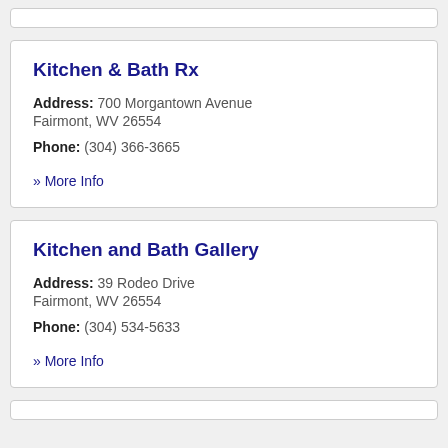Kitchen & Bath Rx
Address: 700 Morgantown Avenue Fairmont, WV 26554
Phone: (304) 366-3665
» More Info
Kitchen and Bath Gallery
Address: 39 Rodeo Drive Fairmont, WV 26554
Phone: (304) 534-5633
» More Info